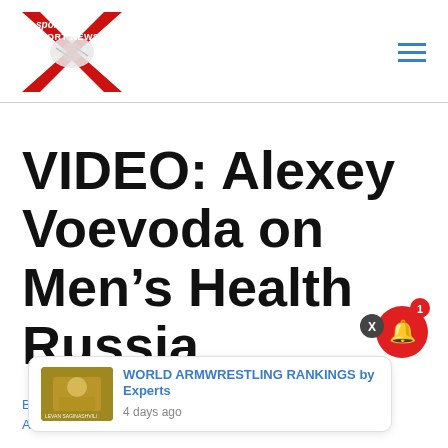sport news SPORT NEWS [logo]
VIDEO: Alexey Voevoda on Men's Health Russia,
[Figure (logo): Sport News X logo with red X shape and hands armwrestling, text 'sport news' and 'SPORT NEWS']
[Figure (infographic): Notification bell icon with red badge showing number 1, and circular X button]
[Figure (photo): Thumbnail image showing Levan Saginashvili armwrestling]
WORLD ARMWRESTLING RANKINGS by Experts
4 days ago
By XSportNews / Monday, September 1, 2014 / ARMWRESTLING, Rehabilitation, VIDEO /